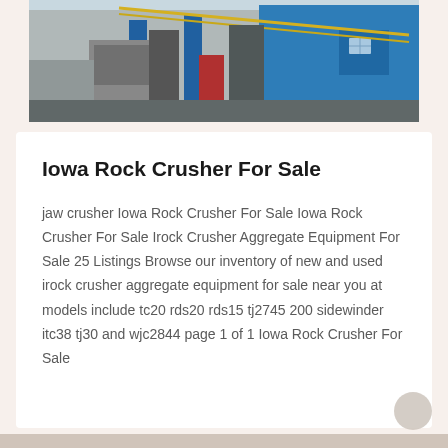[Figure (photo): Industrial facility or factory building with blue structures, machinery, and equipment visible. The image is cropped showing the upper portion of the facility.]
Iowa Rock Crusher For Sale
jaw crusher Iowa Rock Crusher For Sale Iowa Rock Crusher For Sale Irock Crusher Aggregate Equipment For Sale 25 Listings Browse our inventory of new and used irock crusher aggregate equipment for sale near you at models include tc20 rds20 rds15 tj2745 200 sidewinder itc38 tj30 and wjc2844 page 1 of 1 Iowa Rock Crusher For Sale